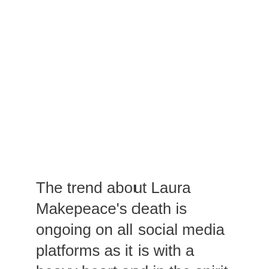The trend about Laura Makepeace's death is ongoing on all social media platforms as it is with a heavy heart and in the spirit of this mourning that we extend our condolences to the family of Laura Makepeace and everyone affected by the passing. We miss you and we